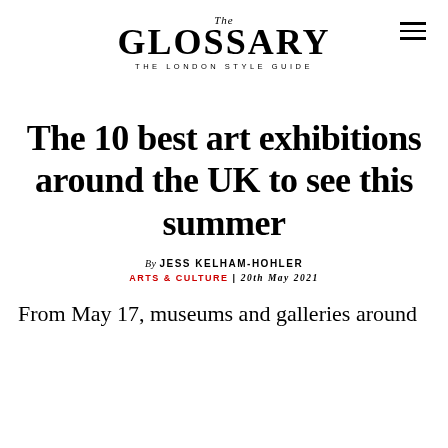The GLOSSARY THE LONDON STYLE GUIDE
The 10 best art exhibitions around the UK to see this summer
By JESS KELHAM-HOHLER ARTS & CULTURE | 20th May 2021
From May 17, museums and galleries around